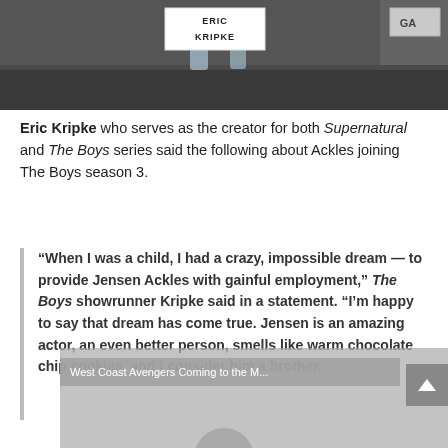[Figure (photo): Photo of Eric Kripke seated at a panel table with a name sign reading 'ERIC KRIPKE' and partial sign reading 'GA' on the right. Dark tablecloth, bottles on table.]
Eric Kripke who serves as the creator for both Supernatural and The Boys series said the following about Ackles joining The Boys season 3.
“When I was a child, I had a crazy, impossible dream — to provide Jensen Ackles with gainful employment,” The Boys showrunner Kripke said in a statement. “I’m happy to say that dream has come true. Jensen is an amazing actor, an even better person, smells like warm chocolate chip cookies, and I consider him a brother.